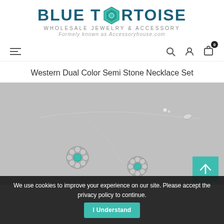BLUE TORTOISE
WHOLESALE JEWELRY & ACCESSORY
Formely known as Accessoryhouse.com
Western Dual Color Semi Stone Necklace Set
[Figure (photo): Product photo showing a silver western-style necklace with daisy flower charms featuring turquoise/teal stone centers, on a grey background. A teal scroll-to-top button with an up arrow is visible in the bottom right of the image.]
We use cookies to improve your experience on our site. Please accept the privacy policy to continue.